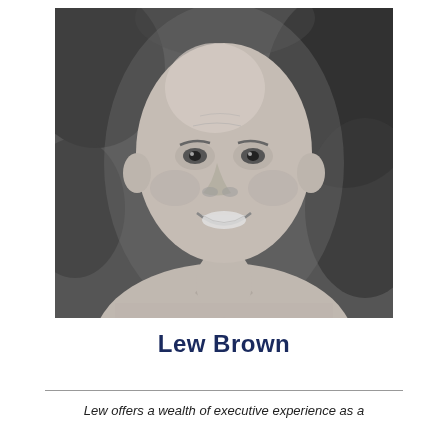[Figure (photo): Black and white headshot photo of Lew Brown, a bald middle-aged man smiling, wearing a collared shirt, with foliage in the background.]
Lew Brown
Lew offers a wealth of executive experience as a